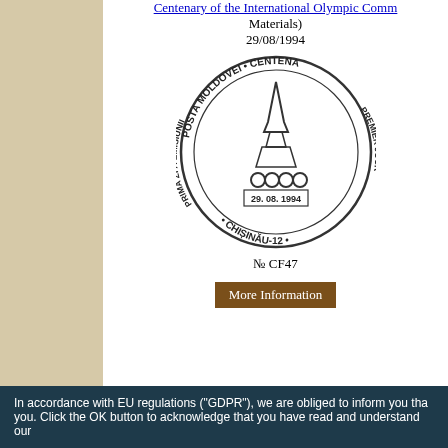Centenary of the International Olympic Committee (Supporting Materials) 29/08/1994
[Figure (illustration): Circular postage stamp from Posta Moldovei with Olympic rings, dated 29.08.1994, CHISINAU-12, CENTENA, PREMIER JOUR, Prima zi a emisiunii]
№ CF47
More Information
NATO - Partnership for Peace Programme (St...) 08/11/1994
[Figure (illustration): Circular postage stamp from Posta Moldovei - Prima zi a emisiunii, dated 08.11. 1994, Chisinau-12, NATO Partnership compass logo]
In accordance with EU regulations ("GDPR"), we are obliged to inform you that we use cookies to offer you a better browsing experience and to analyze site traffic. Click the OK button to acknowledge that you have read and understand our privacy policy.